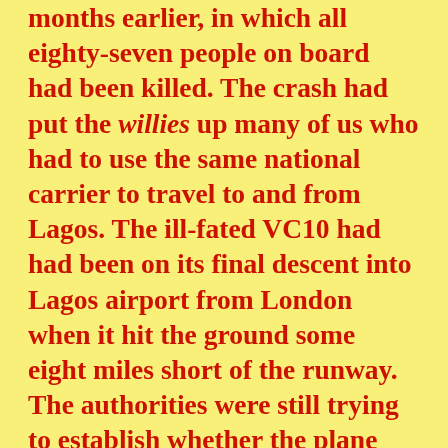months earlier, in which all eighty-seven people on board had been killed. The crash had put the willies up many of us who had to use the same national carrier to travel to and from Lagos. The ill-fated VC10 had had been on its final descent into Lagos airport from London when it hit the ground some eight miles short of the runway. The authorities were still trying to establish whether the plane had been sabotaged by the rebels, but it was becoming pretty clear that pilot error was to blame.
I wasn't yet a hardened veteran who could take flying on ancient, badly